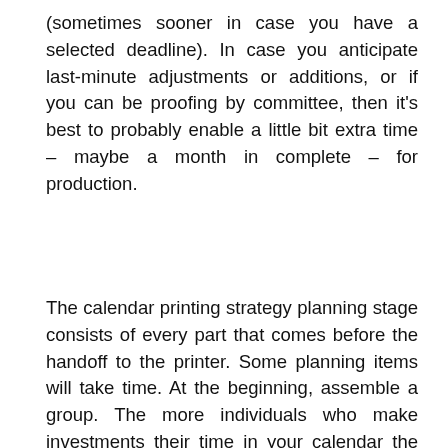(sometimes sooner in case you have a selected deadline). In case you anticipate last-minute adjustments or additions, or if you can be proofing by committee, then it's best to probably enable a little bit extra time – maybe a month in complete – for production.
The calendar printing strategy planning stage consists of every part that comes before the handoff to the printer. Some planning items will take time. At the beginning, assemble a group. The more individuals who make investments their time in your calendar the extra profitable will probably be. You will want to gather artwork. When you've got photographs already and also you simply need to type by them, that is nice. If it's essential solicit photos or hold a photograph or artwork